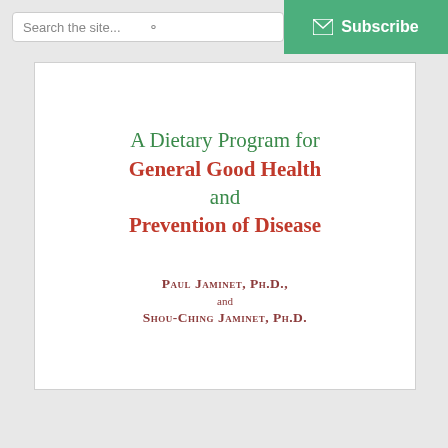Search the site... | Subscribe
A Dietary Program for General Good Health and Prevention of Disease
Paul Jaminet, Ph.D., and Shou-Ching Jaminet, Ph.D.